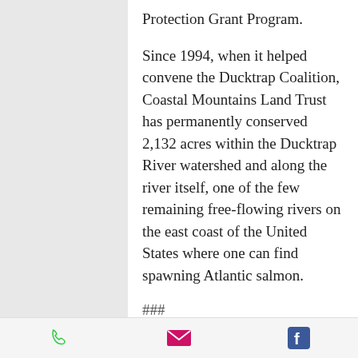Protection Grant Program.
Since 1994, when it helped convene the Ducktrap Coalition, Coastal Mountains Land Trust has permanently conserved 2,132 acres within the Ducktrap River watershed and along the river itself, one of the few remaining free-flowing rivers on the east coast of the United States where one can find spawning Atlantic salmon.
###
Coastal Mountains Land Trust has worked since 1986 to permanently conserve land to benefit the natural and human communities of the western Penobscot Bay. The Land
phone | email | facebook